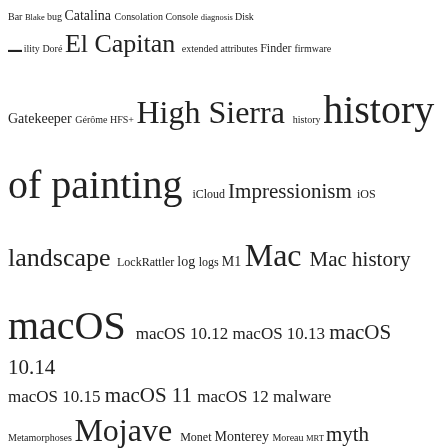[Figure (other): Tag cloud showing macOS, painting history, and security related terms at various font sizes indicating frequency/importance. Terms include: Bar, Blake, bug, Catalina, Consolation, Console, diagnosis, Disk, utility, Doré, El Capitan, extended attributes, Finder, firmware, Gatekeeper, Gérôme, HFS+, High Sierra, history, history of painting, iCloud, Impressionism, iOS, landscape, LockRattler, log, logs, M1, Mac, Mac history, macOS, macOS 10.12, macOS 10.13, macOS 10.14, macOS 10.15, macOS 11, macOS 12, malware, Metamorphoses, Mojave, Monet, Monterey, Moreau, MRT, myth, narrative, OS X, Ovid, painting, Pissarro, Poussin, privacy, realism, riddle, Rubens, Sargent, scripting, security, Sierra, SilentKnight, SSD, Swift, symbolism, Time Machine, Turner, update, upgrade, xattr, Xcode, XProtect]